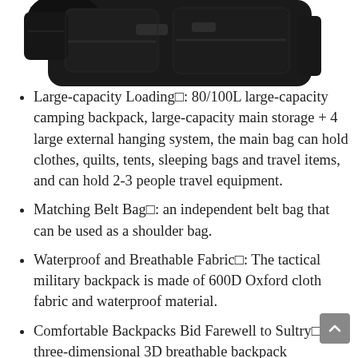[Figure (photo): Partial view of a black tactical military backpack against a white background, showing the top portion of the bag with multiple compartments and straps.]
Large-capacity Loading□: 80/100L large-capacity camping backpack, large-capacity main storage + 4 large external hanging system, the main bag can hold clothes, quilts, tents, sleeping bags and travel items, and can hold 2-3 people travel equipment.
Matching Belt Bag□: an independent belt bag that can be used as a shoulder bag.
Waterproof and Breathable Fabric□: The tactical military backpack is made of 600D Oxford cloth fabric and waterproof material.
Comfortable Backpacks Bid Farewell to Sultry□: the three-dimensional 3D breathable backpack